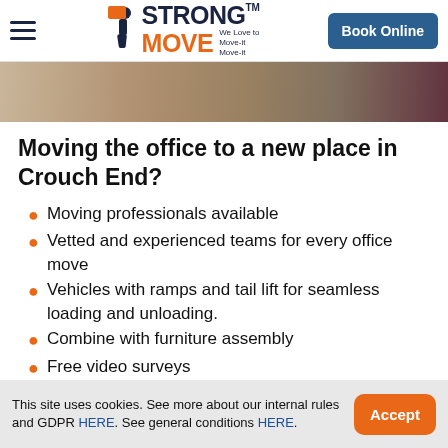Strong Move — We Love to Move-it Move-it | Book Online
[Figure (photo): Partial photo of wooden floor and laptop in background, cropped banner image]
Moving the office to a new place in Crouch End?
Moving professionals available
Vetted and experienced teams for every office move
Vehicles with ramps and tail lift for seamless loading and unloading.
Combine with furniture assembly
Free video surveys
This site uses cookies. See more about our internal rules and GDPR HERE. See general conditions HERE.